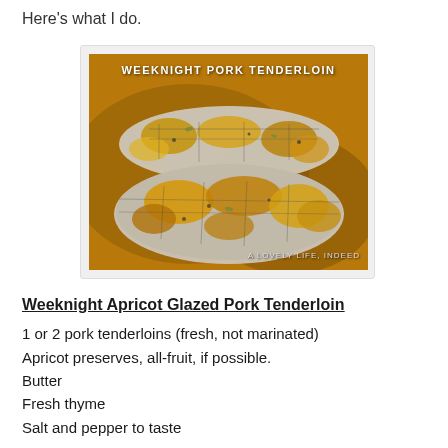Here's what I do.
[Figure (photo): Photo of two glazed pork tenderloins in a baking pan with orange-gold apricot glaze. Text overlay at top reads 'WEEKNIGHT PORK TENDERLOIN' and at bottom reads 'A LOVELY LIFE, INDEED'.]
Weeknight Apricot Glazed Pork Tenderloin
1 or 2 pork tenderloins (fresh, not marinated)
Apricot preserves, all-fruit, if possible.
Butter
Fresh thyme
Salt and pepper to taste